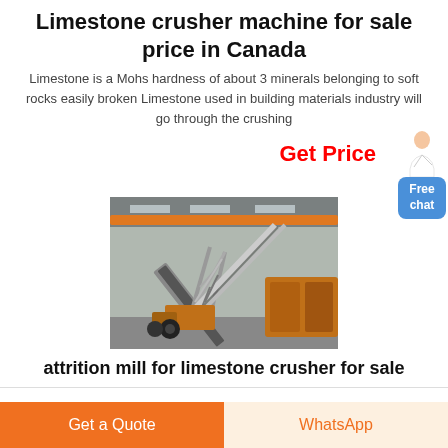Limestone crusher machine for sale price in Canada
Limestone is a Mohs hardness of about 3 minerals belonging to soft rocks easily broken Limestone used in building materials industry will go through the crushing
Get Price
[Figure (photo): Industrial limestone crusher machine / conveyor equipment inside a factory warehouse with orange overhead crane and orange heavy equipment.]
attrition mill for limestone crusher for sale
Get a Quote
WhatsApp